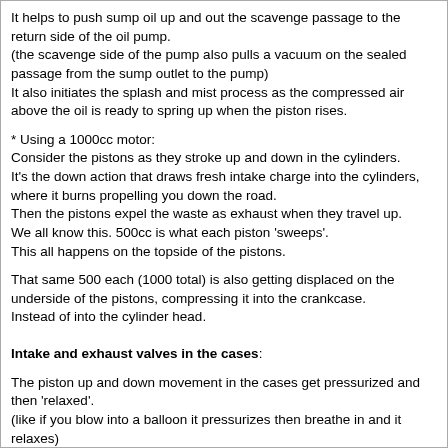It helps to push sump oil up and out the scavenge passage to the return side of the oil pump.
(the scavenge side of the pump also pulls a vacuum on the sealed passage from the sump outlet to the pump)
It also initiates the splash and mist process as the compressed air above the oil is ready to spring up when the piston rises.
* Using a 1000cc motor:
Consider the pistons as they stroke up and down in the cylinders.
It's the down action that draws fresh intake charge into the cylinders, where it burns propelling you down the road.
Then the pistons expel the waste as exhaust when they travel up.
We all know this. 500cc is what each piston 'sweeps'.
This all happens on the topside of the pistons.
That same 500 each (1000 total) is also getting displaced on the underside of the pistons, compressing it into the crankcase.
Instead of into the cylinder head.
Intake and exhaust valves in the cases:
The piston up and down movement in the cases get pressurized and then 'relaxed'.
(like if you blow into a balloon it pressurizes then breathe in and it relaxes)
If you take the timing plug out of a running engine, this opens the crankcase to the atmosphere.
Then you'll get 1000cc of air/oil mixture blowing out of it followed by 1000cc getting sucked back in.